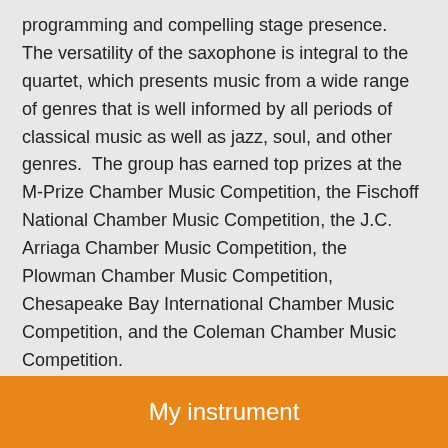programming and compelling stage presence.  The versatility of the saxophone is integral to the quartet, which presents music from a wide range of genres that is well informed by all periods of classical music as well as jazz, soul, and other genres.  The group has earned top prizes at the M-Prize Chamber Music Competition, the Fischoff National Chamber Music Competition, the J.C. Arriaga Chamber Music Competition, the Plowman Chamber Music Competition, Chesapeake Bay International Chamber Music Competition, and the Coleman Chamber Music Competition.
In collaboration with Naxos Records, the quartet recently completed the recording of their first album, which features the music of French composers Eugéne Bozza, Alfred Desenclos,
My instrument